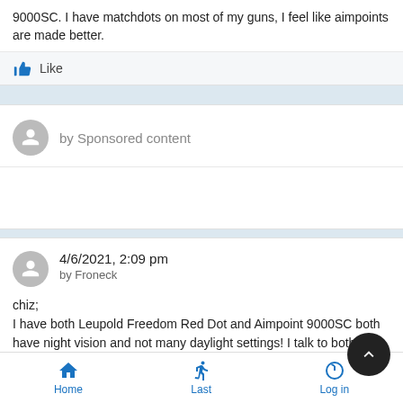9000SC. I have matchdots on most of my guns, I feel like aimpoints are made better.
Like
by Sponsored content
4/6/2021, 2:09 pm
by Froneck
chiz;
I have both Leupold Freedom Red Dot and Aimpoint 9000SC both have night vision and not many daylight settings! I talk to both Leupold and Aimpoint explained why target shooter do
Home  Last  Log in